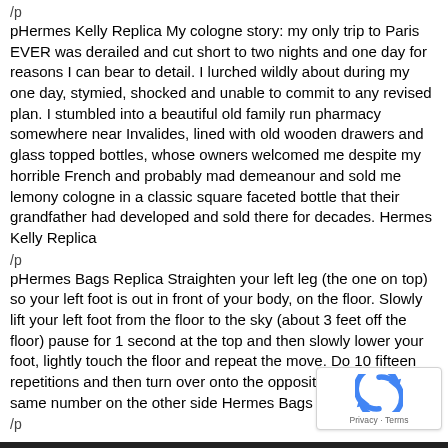/p
pHermes Kelly Replica My cologne story: my only trip to Paris EVER was derailed and cut short to two nights and one day for reasons I can bear to detail. I lurched wildly about during my one day, stymied, shocked and unable to commit to any revised plan. I stumbled into a beautiful old family run pharmacy somewhere near Invalides, lined with old wooden drawers and glass topped bottles, whose owners welcomed me despite my horrible French and probably mad demeanour and sold me lemony cologne in a classic square faceted bottle that their grandfather had developed and sold there for decades. Hermes Kelly Replica
/p
pHermes Bags Replica Straighten your left leg (the one on top) so your left foot is out in front of your body, on the floor. Slowly lift your left foot from the floor to the sky (about 3 feet off the floor) pause for 1 second at the top and then slowly lower your foot, lightly touch the floor and repeat the move. Do 10 fifteen repetitions and then turn over onto the opposite side and do the same number on the other side Hermes Bags Replica.
/p
[Figure (logo): reCAPTCHA badge with blue circular arrow icon and 'Privacy - Terms' text]